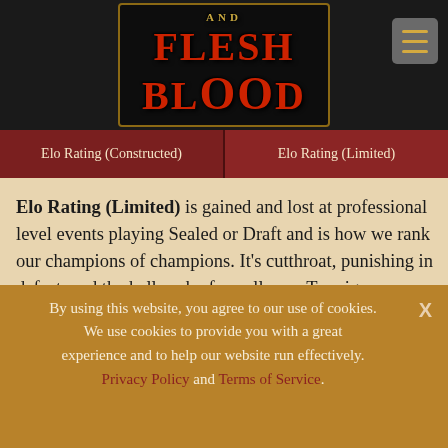[Figure (logo): Flesh and Blood trading card game logo on dark header bar with golden border, red stylized text]
Elo Rating (Constructed) | Elo Rating (Limited)
Elo Rating (Limited) is gained and lost at professional level events playing Sealed or Draft and is how we rank our champions of champions. It's cutthroat, punishing in defeat, and the hallmark of excellence. To reign supreme on the Elo leaderboard is the ultimate Flesh and Blood achievement.
Global
By using this website, you agree to our use of cookies. We use cookies to provide you with a great experience and to help our website run effectively. Privacy Policy and Terms of Service.